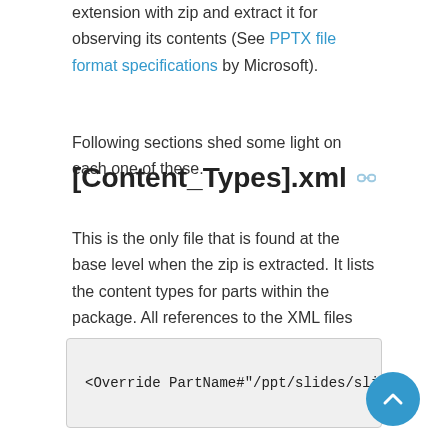extension with zip and extract it for observing its contents (See PPTX file format specifications by Microsoft).
Following sections shed some light on each one of these.
[Content_Types].xml
This is the only file that is found at the base level when the zip is extracted. It lists the content types for parts within the package. All references to the XML files included in the package are referenced in this XML file. Following is a content type for a slide part:
<Override PartName#"/ppt/slides/slide1.x…"
If new parts need to be added to the package, it can be done by adding…